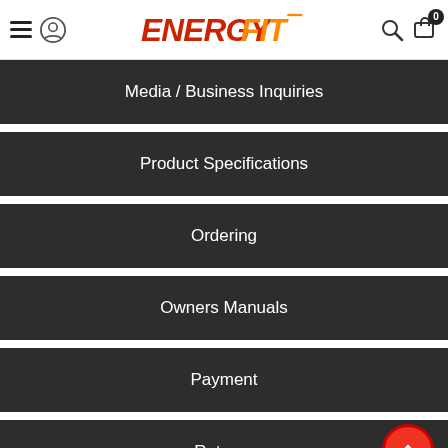EnergyFit navigation header with hamburger menu, logo, search and cart icons
Media / Business Inquiries
Product Specifications
Ordering
Owners Manuals
Payment
Returns